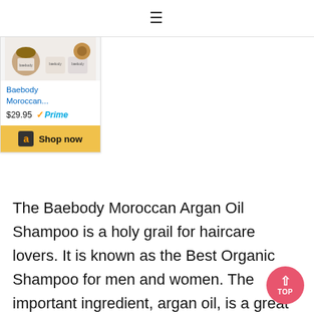≡
[Figure (screenshot): Amazon product card for Baebody Moroccan... priced at $29.95 with Prime badge and Shop now button]
The Baebody Moroccan Argan Oil Shampoo is a holy grail for haircare lovers. It is known as the Best Organic Shampoo for men and women. The important ingredient, argan oil, is a great product for strengthening thin and damaged hair. It is an ideal product for managing short and long hair. If you suffer from extremely dry and brittle